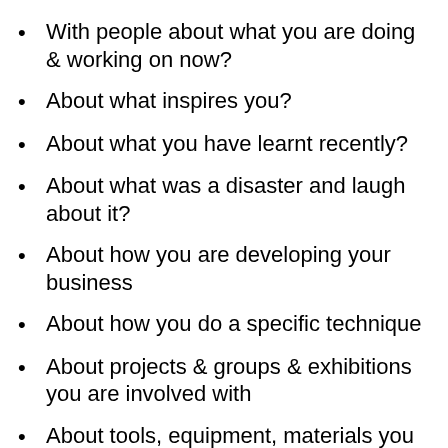With people about what you are doing & working on now?
About what inspires you?
About what you have learnt recently?
About what was a disaster and laugh about it?
About how you are developing your business
About how you do a specific technique
About projects & groups & exhibitions you are involved with
About tools, equipment, materials you